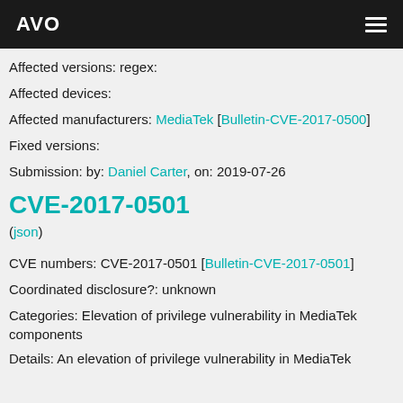AVO
Affected versions: regex:
Affected devices:
Affected manufacturers: MediaTek [Bulletin-CVE-2017-0500]
Fixed versions:
Submission: by: Daniel Carter, on: 2019-07-26
CVE-2017-0501
(json)
CVE numbers: CVE-2017-0501 [Bulletin-CVE-2017-0501]
Coordinated disclosure?: unknown
Categories: Elevation of privilege vulnerability in MediaTek components
Details: An elevation of privilege vulnerability in MediaTek